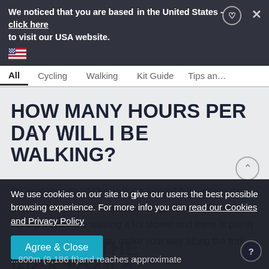We noticed that you are based in the United States - click here to visit our USA website.
All  Cycling  Walking  Kit Guide  Tips and
HOW MANY HOURS PER DAY WILL I BE WALKING?
On average you will be walking around 6 hours per day. Some a little shorter and some longer. The high altitude of the trip makes the walking a lot slower and there is plenty of time for resting as you make your way along the trail.
HOW HIGH DO YOU CLIMB ON THE INCA TRAIL?
We use cookies on our site to give our users the best possible browsing experience. For more info you can read our Cookies and Privacy Policy
...800m (9,186 ft)and reaches approximate